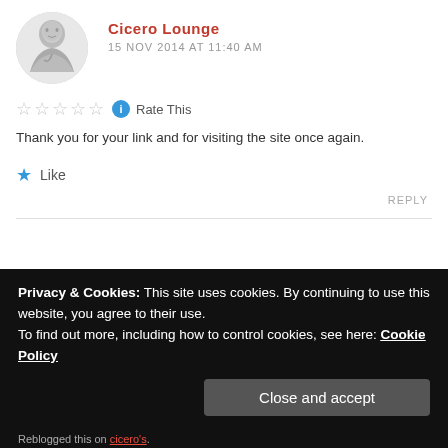Cicero Lounge
15 NOV 2014 AT 11:40 AM
Rate This
Thank you for your link and for visiting the site once again.
Like
REPLY
Privacy & Cookies: This site uses cookies. By continuing to use this website, you agree to their use.
To find out more, including how to control cookies, see here: Cookie Policy
Close and accept
Reblogged this on cicero's.